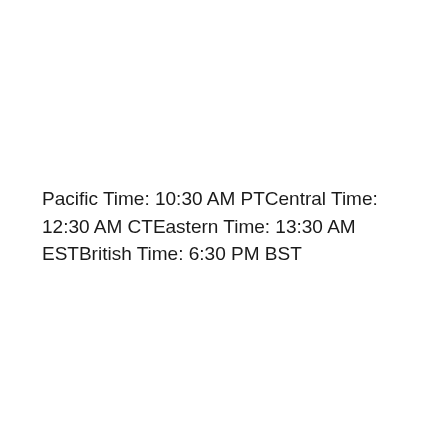Pacific Time: 10:30 AM PTCentral Time: 12:30 AM CTEastern Time: 13:30 AM ESTBritish Time: 6:30 PM BST